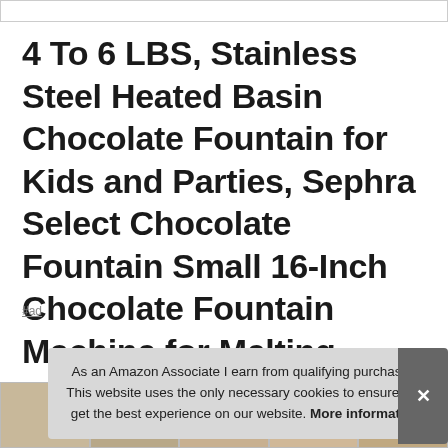4 To 6 LBS, Stainless Steel Heated Basin Chocolate Fountain for Kids and Parties, Sephra Select Chocolate Fountain Small 16-Inch Chocolate Fountain Machine for Melting Chocolate, Whisper Quiet Motor
#ad
[Figure (photo): Product image thumbnails row at the bottom of the page]
As an Amazon Associate I earn from qualifying purchases. This website uses the only necessary cookies to ensure you get the best experience on our website. More information